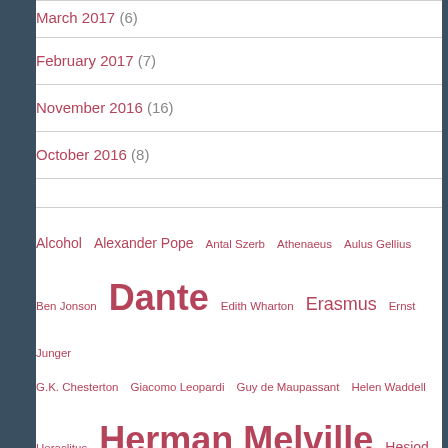March 2017 (6)
February 2017 (7)
November 2016 (16)
October 2016 (8)
Alcohol  Alexander Pope  Antal Szerb  Athenaeus  Aulus Gellius  Ben Jonson  Dante  Edith Wharton  Erasmus  Ernst Junger  G.K. Chesterton  Giacomo Leopardi  Guy de Maupassant  Helen Waddell  Heraclitus  Herman Melville  Hesiod  Homer  Horace  James Boswell  John Donne  John Milton  Jorge Luis Borges  Laurence Sterne  Li Po  Marcel Proust  Marcel Schwob  Montaigne  Ovid  Petronius  Pindar  Plato